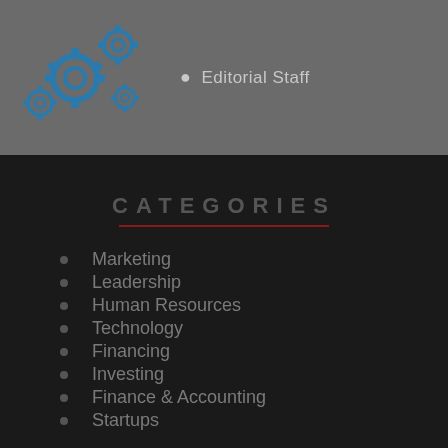[Figure (illustration): Gear/technology icon image in blue tones]
Editorial Staff
CATEGORIES
Marketing
Leadership
Human Resources
Technology
Financing
Investing
Finance & Accounting
Startups